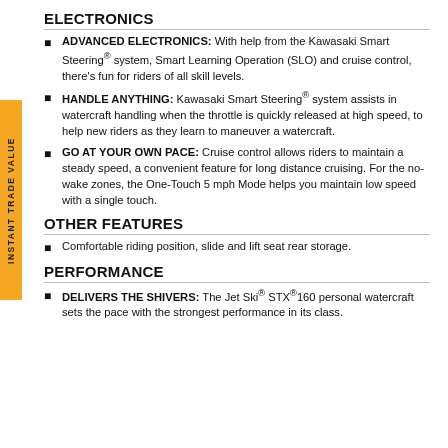ELECTRONICS
ADVANCED ELECTRONICS: With help from the Kawasaki Smart Steering® system, Smart Learning Operation (SLO) and cruise control, there's fun for riders of all skill levels.
HANDLE ANYTHING: Kawasaki Smart Steering® system assists in watercraft handling when the throttle is quickly released at high speed, to help new riders as they learn to maneuver a watercraft.
GO AT YOUR OWN PACE: Cruise control allows riders to maintain a steady speed, a convenient feature for long distance cruising. For the no-wake zones, the One-Touch 5 mph Mode helps you maintain low speed with a single touch.
OTHER FEATURES
Comfortable riding position, slide and lift seat rear storage.
PERFORMANCE
DELIVERS THE SHIVERS: The Jet Ski® STX®160 personal watercraft sets the pace with the strongest performance in its class.